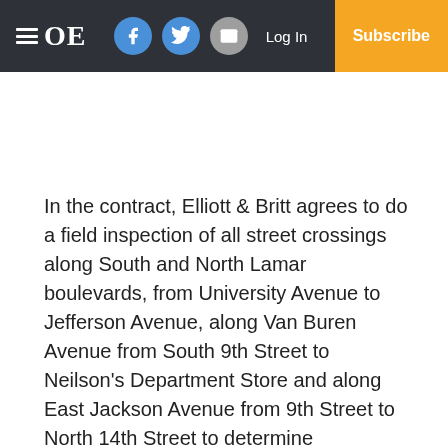OE | Log In | Subscribe
In the contract, Elliott & Britt agrees to do a field inspection of all street crossings along South and North Lamar boulevards, from University Avenue to Jefferson Avenue, along Van Buren Avenue from South 9th Street to Neilson’s Department Store and along East Jackson Avenue from 9th Street to North 14th Street to determine